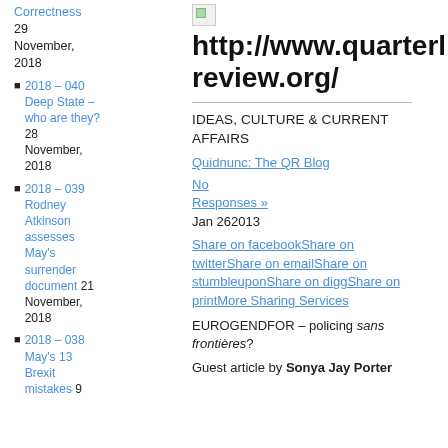Correctness 29 November, 2018
2018 – 040 Deep State – who are they? 28 November, 2018
2018 – 039 Rodney Atkinson assesses May's surrender document 21 November, 2018
2018 – 038 May's 13 Brexit mistakes 9
http://www.quarterly-review.org/
IDEAS, CULTURE & CURRENT AFFAIRS
Quidnunc: The QR Blog No Responses »
Jan 262013
Share on facebookShare on twitterShare on emailShare on stumbleuponShare on diggShare on printMore Sharing Services
EUROGENDFOR – policing sans frontières?
Guest article by Sonya Jay Porter